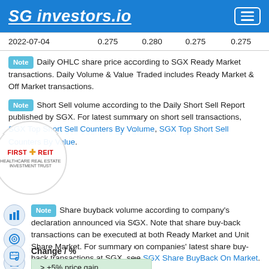SG investors.io
| Date | Open | High | Low | Close |
| --- | --- | --- | --- | --- |
| 2022-07-04 | 0.275 | 0.280 | 0.275 | 0.275 |
Note  Daily OHLC share price according to SGX Ready Market transactions. Daily Volume & Value Traded includes Ready Market & Off Market transactions.
Note  Short Sell volume according to the Daily Short Sell Report published by SGX. For latest summary on short sell transactions, SGX Top Short Sell Counters By Volume, SGX Top Short Sell Counters By Value.
Note  Share buyback volume according to company's declaration announced via SGX. Note that share buy-back transactions can be executed at both Ready Market and Unit Share Market. For summary on companies' latest share buy-back transactions at SGX, see SGX Share BuyBack On Market.
Change / %
> +5% price gain
> -5% price loss